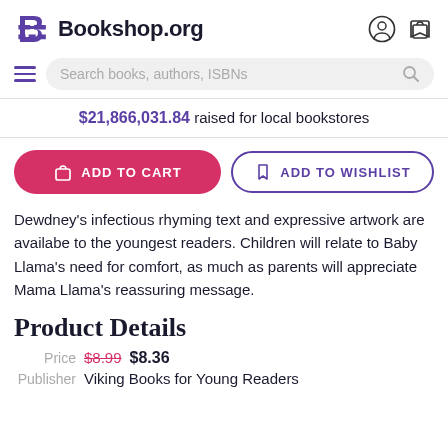Bookshop.org
$21,866,031.84 raised for local bookstores
ADD TO CART | ADD TO WISHLIST
Dewdney's infectious rhyming text and expressive artwork are availabe to the youngest readers. Children will relate to Baby Llama's need for comfort, as much as parents will appreciate Mama Llama's reassuring message.
Product Details
Price $8.99 $8.36
Publisher Viking Books for Young Readers